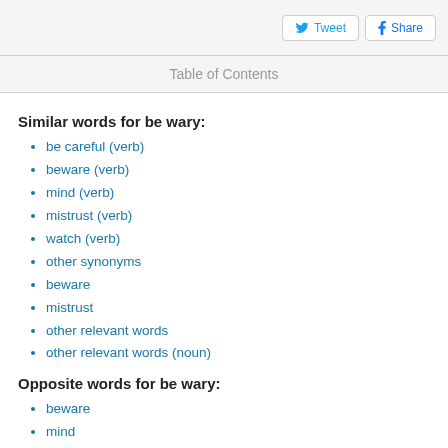Tweet  Share
Table of Contents
Similar words for be wary:
be careful (verb)
beware (verb)
mind (verb)
mistrust (verb)
watch (verb)
other synonyms
beware
mistrust
other relevant words
other relevant words (noun)
Opposite words for be wary:
beware
mind
mistrust
watch